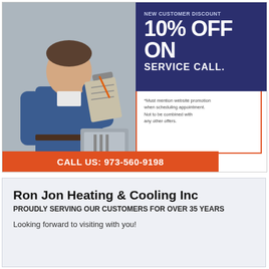[Figure (infographic): Advertisement for Ron Jon Heating & Cooling Inc showing a technician in blue uniform holding a clipboard/notepad with pen, standing next to HVAC equipment. Right side shows a dark navy blue box with 'NEW CUSTOMER DISCOUNT 10% OFF ON SERVICE CALL.' text, below which is fine print about mentioning website promotion. An orange banner at bottom reads 'CALL US: 973-560-9198'.]
Ron Jon Heating & Cooling Inc
PROUDLY SERVING OUR CUSTOMERS FOR OVER 35 YEARS
Looking forward to visiting with you!